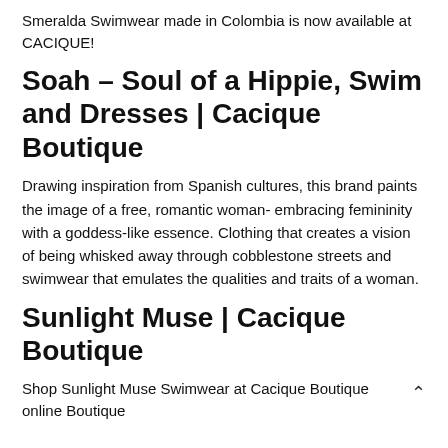Smeralda Swimwear made in Colombia is now available at CACIQUE!
Soah – Soul of a Hippie, Swim and Dresses | Cacique Boutique
Drawing inspiration from Spanish cultures, this brand paints the image of a free, romantic woman- embracing femininity with a goddess-like essence. Clothing that creates a vision of being whisked away through cobblestone streets and swimwear that emulates the qualities and traits of a woman.
Sunlight Muse | Cacique Boutique
Shop Sunlight Muse Swimwear at Cacique Boutique online Boutique